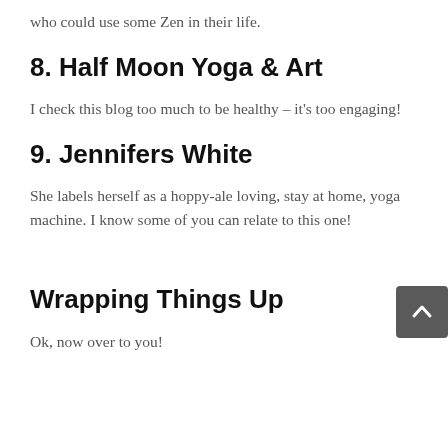who could use some Zen in their life.
8. Half Moon Yoga & Art
I check this blog too much to be healthy – it's too engaging!
9. Jennifers White
She labels herself as a hoppy-ale loving, stay at home, yoga machine. I know some of you can relate to this one!
Wrapping Things Up
Ok, now over to you!